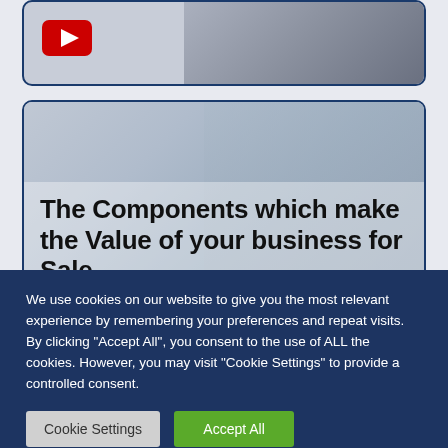[Figure (screenshot): Top card with YouTube play button icon on a grey background, showing a partial image of a person in a suit]
[Figure (screenshot): Card showing a business person working at a desk with a laptop and coffee cup, with overlaid bold text reading 'The Components which make the Value of your business for Sale']
The Components which make the Value of your business for Sale
We use cookies on our website to give you the most relevant experience by remembering your preferences and repeat visits. By clicking "Accept All", you consent to the use of ALL the cookies. However, you may visit "Cookie Settings" to provide a controlled consent.
Cookie Settings
Accept All